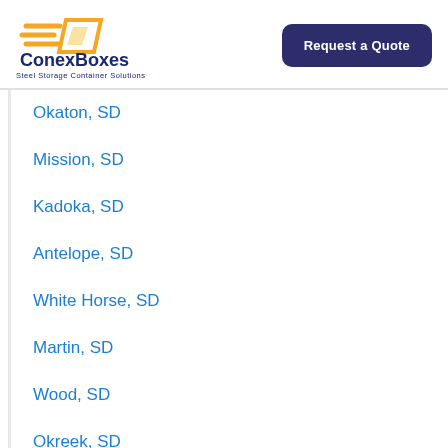[Figure (logo): ConexBoxes logo with orange parallelogram graphic and dark blue text reading 'ConexBoxes' and tagline 'Steel Storage Container Solutions']
Request a Quote
Okaton, SD
Mission, SD
Kadoka, SD
Antelope, SD
White Horse, SD
Martin, SD
Wood, SD
Okreek, SD